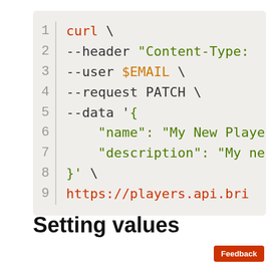[Figure (screenshot): Code block showing a curl command with line numbers 1-9. Line 1: curl \, Line 2: --header "Content-Type:, Line 3: --user $EMAIL \, Line 4: --request PATCH \, Line 5: --data '{, Line 6: "name": "My New Player, Line 7: "description": "My ne, Line 8: }' \, Line 9: https://players.api.bri]
Setting values